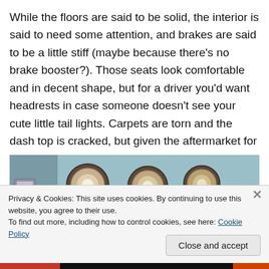While the floors are said to be solid, the interior is said to need some attention, and brakes are said to be a little stiff (maybe because there's no brake booster?). Those seats look comfortable and in decent shape, but for a driver you'd want headrests in case someone doesn't see your cute little tail lights. Carpets are torn and the dash top is cracked, but given the aftermarket for these cars, these parts should be available.
[Figure (photo): Photo of car engine components/tail lights assembly, showing multiple circular light fixtures and wiring against a light blue background.]
Privacy & Cookies: This site uses cookies. By continuing to use this website, you agree to their use.
To find out more, including how to control cookies, see here: Cookie Policy
Close and accept